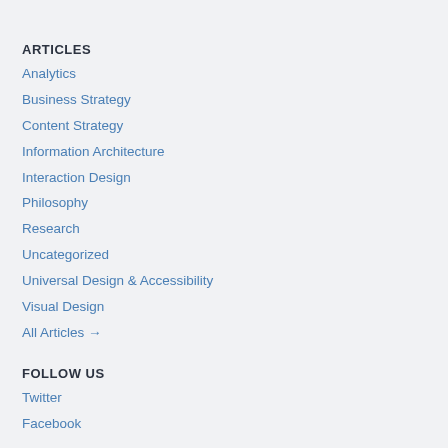ARTICLES
Analytics
Business Strategy
Content Strategy
Information Architecture
Interaction Design
Philosophy
Research
Uncategorized
Universal Design & Accessibility
Visual Design
All Articles →
FOLLOW US
Twitter
Facebook